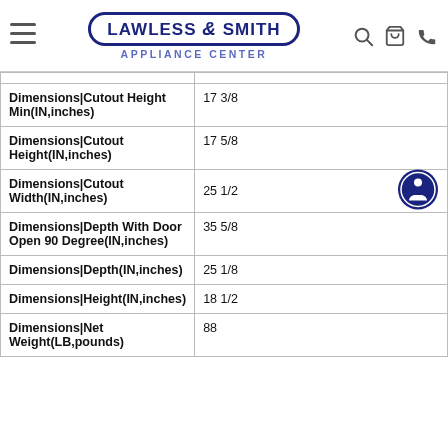Lawless & Smith Appliance Center
| Specification | Value |
| --- | --- |
| Dimensions|Cutout Height Min(IN,inches) | 17 3/8 |
| Dimensions|Cutout Height(IN,inches) | 17 5/8 |
| Dimensions|Cutout Width(IN,inches) | 25 1/2 |
| Dimensions|Depth With Door Open 90 Degree(IN,inches) | 35 5/8 |
| Dimensions|Depth(IN,inches) | 25 1/8 |
| Dimensions|Height(IN,inches) | 18 1/2 |
| Dimensions|Net Weight(LB,pounds) | 88 |